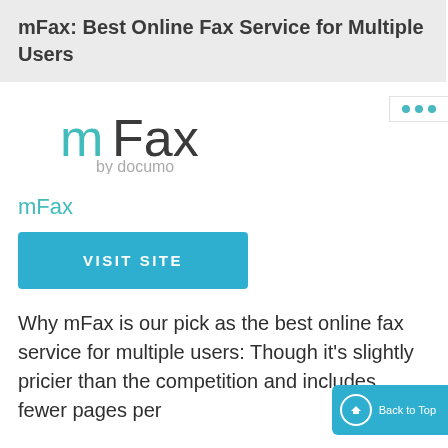mFax: Best Online Fax Service for Multiple Users
[Figure (logo): mFax by documo logo — 'mFax' in teal/dark lettering with 'by documo' tagline beneath]
mFax
VISIT SITE
Why mFax is our pick as the best online fax service for multiple users: Though it's slightly pricier than the competition and includes fewer pages per